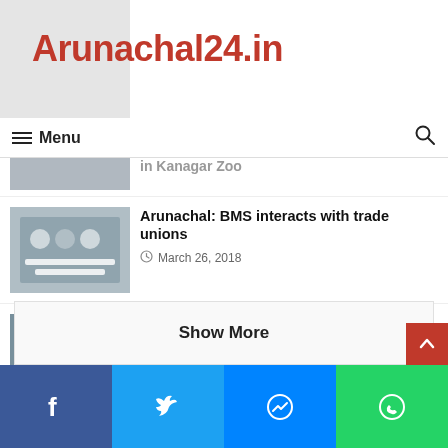Arunachal24.in
Menu
Arunachal: BMS interacts with trade unions — March 26, 2018
Arunachal: 2 arrested while selling Pistol in a petrol depot at Banderdewa — August 26, 2018
Arunachal: JDU demands re-poll at Sangram polling station — May 5, 2019
Show More
Facebook | Twitter | Messenger | WhatsApp